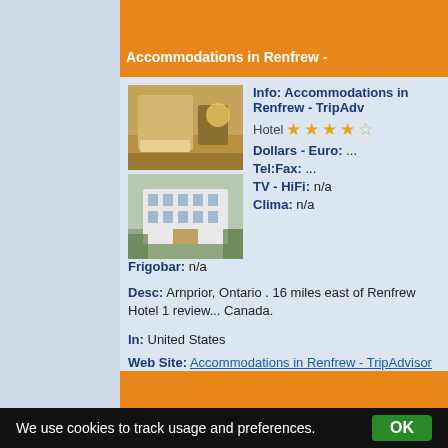Accommodations in Renfrew -
[Figure (photo): Hotel room interior photo - warm toned with bed and furniture]
[Figure (photo): Hotel exterior photo - white multi-story building with trees]
Info: Accommodations in Renfrew - TripAdv
Hotel ★★★★☆
Dollars - Euro: ...
Tel:Fax: ...
TV - HiFi: n/a
Clima: n/a
Frigobar: n/a
Desc: Arnprior, Ontario . 16 miles east of Renfrew Hotel 1 review... Canada.
In: United States
Web Site: Accommodations in Renfrew - TripAdvisor
Web Link: http://www.tripadvisor.com/AllLocations-g182180-c1-h
We use cookies to track usage and preferences.